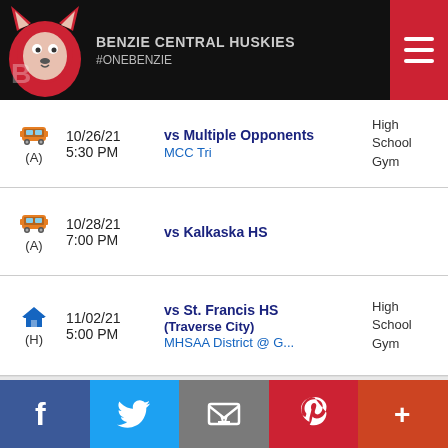BENZIE CENTRAL HUSKIES #ONEBENZIE
| Icon/Location | Date/Time | Event | Venue |
| --- | --- | --- | --- |
| Bus (A) | 10/26/21 5:30 PM | vs Multiple Opponents MCC Tri | High School Gym |
| Bus (A) | 10/28/21 7:00 PM | vs Kalkaska HS |  |
| Home (H) | 11/02/21 5:00 PM | vs St. Francis HS (Traverse City) MHSAA District @ G... | High School Gym |
Facebook | Twitter | Email | Pinterest | More